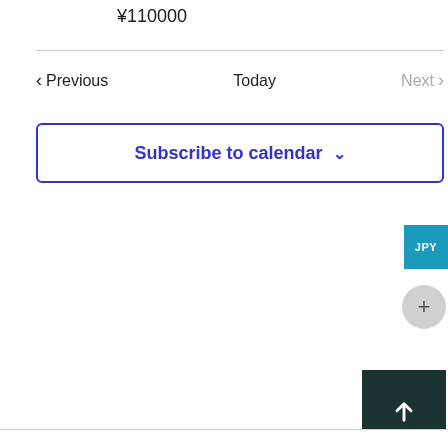¥110000
< Previous   Today   Next >
Subscribe to calendar ∨
JPY
+
[Figure (other): Dark green square button with white upward arrow icon (back to top button)]